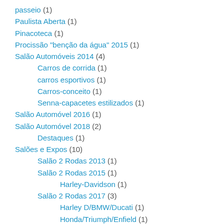passeio (1)
Paulista Aberta (1)
Pinacoteca (1)
Procissão "benção da água" 2015 (1)
Salão Automóveis 2014 (4)
Carros de corrida (1)
carros esportivos (1)
Carros-conceito (1)
Senna-capacetes estilizados (1)
Salão Automóvel 2016 (1)
Salão Automóvel 2018 (2)
Destaques (1)
Salões e Expos (10)
Salão 2 Rodas 2013 (1)
Salão 2 Rodas 2015 (1)
Harley-Davidson (1)
Salão 2 Rodas 2017 (3)
Harley D/BMW/Ducati (1)
Honda/Triumph/Enfield (1)
Indian (1)